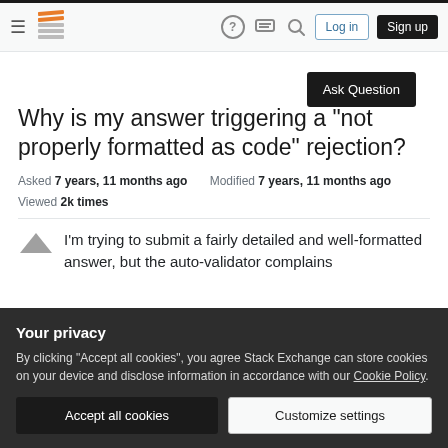Stack Exchange navigation header with Log in and Sign up buttons
Why is my answer triggering a "not properly formatted as code" rejection?
Asked 7 years, 11 months ago   Modified 7 years, 11 months ago   Viewed 2k times
I'm trying to submit a fairly detailed and well-formatted answer, but the auto-validator complains...
Your privacy
By clicking "Accept all cookies", you agree Stack Exchange can store cookies on your device and disclose information in accordance with our Cookie Policy.
Accept all cookies   Customize settings